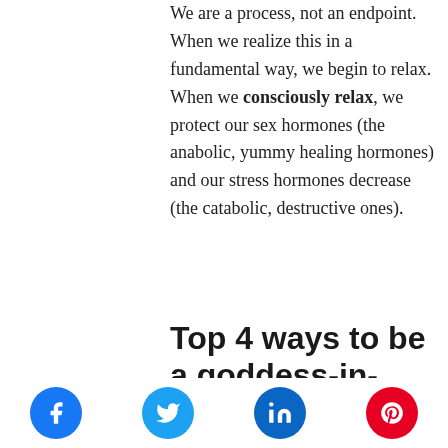We are a process, not an endpoint. When we realize this in a fundamental way, we begin to relax. When we consciously relax, we protect our sex hormones (the anabolic, yummy healing hormones) and our stress hormones decrease (the catabolic, destructive ones).
Top 4 ways to be a goddess-in-action: